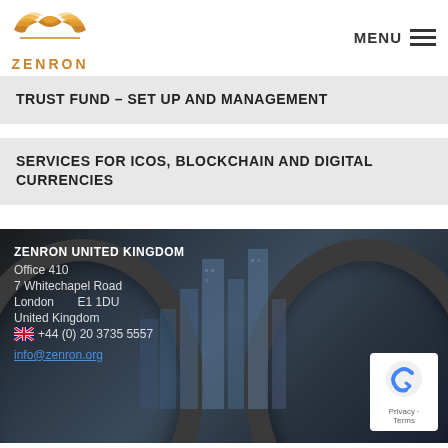[Figure (logo): Zenron logo with gold/orange wing design and ZENRON text below]
TRUST FUND – SET UP AND MANAGEMENT
SERVICES FOR ICOS, BLOCKCHAIN AND DIGITAL CURRENCIES
ZENRON UNITED KINGDOM
Office 410
7 Whitechapel Road
London       E1 1DU
United Kingdom
+44 (0) 20 3735 5557
info@zenron.org